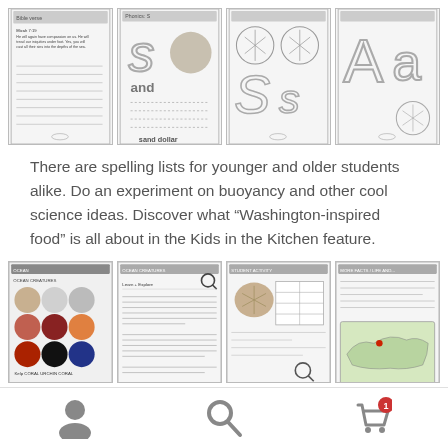[Figure (screenshot): Four worksheet thumbnail images: a lined writing page with Bible verse, a letter S phonics worksheet with sand dollar image, an Ss letter tracing page with sand dollar coloring, and an Aa alphabet page with star/circle shapes]
There are spelling lists for younger and older students alike. Do an experiment on buoyancy and other cool science ideas. Discover what “Washington-inspired food” is all about in the Kids in the Kitchen feature.
[Figure (screenshot): Four more worksheet thumbnails showing ocean/sand dollar themed educational pages with photos, text, map of USA, and student activities]
User icon | Search icon | Cart icon with badge 1